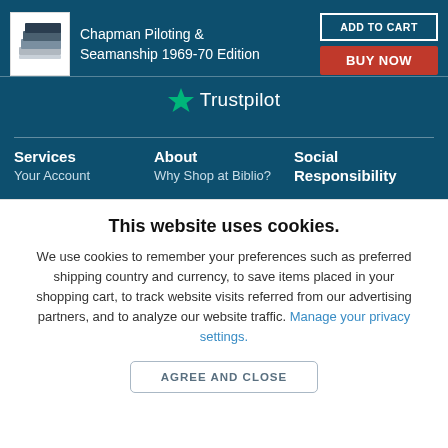[Figure (screenshot): Book cover thumbnail for Chapman Piloting & Seamanship 1969-70 Edition]
Chapman Piloting & Seamanship 1969-70 Edition
ADD TO CART
BUY NOW
[Figure (logo): Trustpilot logo with green star]
Services
Your Account
About
Why Shop at Biblio?
Social Responsibility
This website uses cookies.
We use cookies to remember your preferences such as preferred shipping country and currency, to save items placed in your shopping cart, to track website visits referred from our advertising partners, and to analyze our website traffic. Manage your privacy settings.
AGREE AND CLOSE